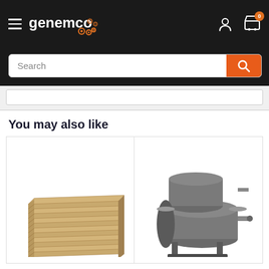[Figure (screenshot): Genemco website header with hamburger menu, logo, user icon, and cart icon with badge showing 0]
[Figure (screenshot): Search bar with placeholder text 'Search' and orange search button]
[Figure (screenshot): Partial content stub / white box area]
You may also like
[Figure (photo): Stack of wooden planks/boards piled flat]
[Figure (photo): Industrial cylindrical tanks or pipes on a stand, partially visible]